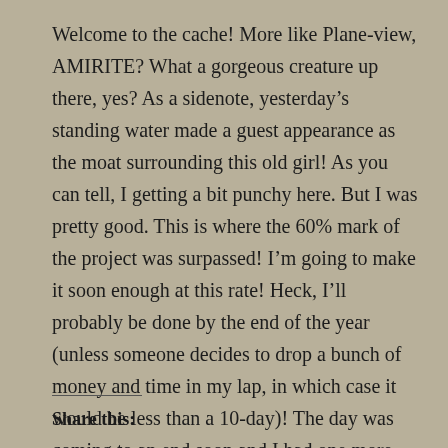Welcome to the cache! More like Plane-view, AMIRITE? What a gorgeous creature up there, yes? As a sidenote, yesterday's standing water made a guest appearance as the moat surrounding this old girl! As you can tell, I getting a bit punchy here. But I was pretty good. This is where the 60% mark of the project was surpassed! I'm going to make it soon enough at this rate! Heck, I'll probably be done by the end of the year (unless someone decides to drop a bunch of money and time in my lap, in which case it would be less than a 10-day)! The day was coming to an end soon and I had one more stop to make before the sun went down. Back behind the wheel and south until I was in…
Share this: